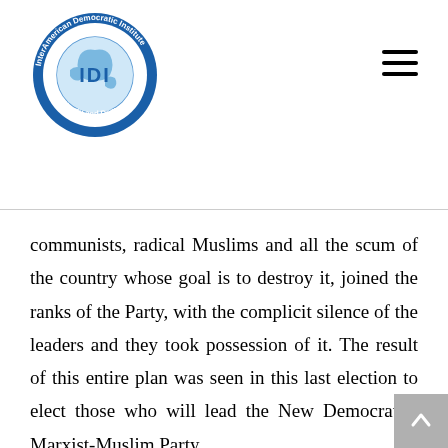[Figure (logo): InterAmerican Democratic Institute circular logo with globe and 'IDI' letters, blue border with text 'Liberty and Democracy']
communists, radical Muslims and all the scum of the country whose goal is to destroy it, joined the ranks of the Party, with the complicit silence of the leaders and they took possession of it. The result of this entire plan was seen in this last election to elect those who will lead the New Democratic-Marxist-Muslim Party.
Four hundred and thirty-five delegates were to choose between the two candidates whose biographies I have shared with you in this article,